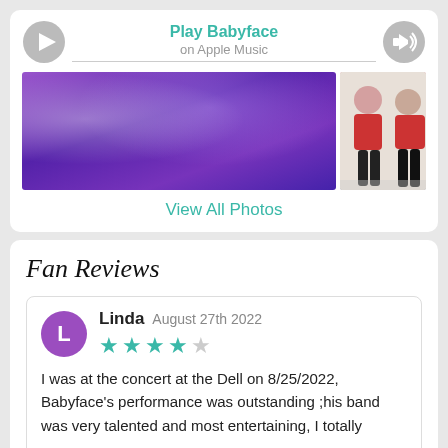[Figure (screenshot): Apple Music player bar with play icon on left, 'Play Babyface on Apple Music' text in center, volume icon on right]
[Figure (photo): Two concert/event photos side by side: large purple-lit performance photo and smaller photo of two people standing]
View All Photos
Fan Reviews
Linda  August 27th 2022
★★★★☆
I was at the concert at the Dell on 8/25/2022, Babyface's performance was outstanding ;his band was very talented and most entertaining, I totally
View more